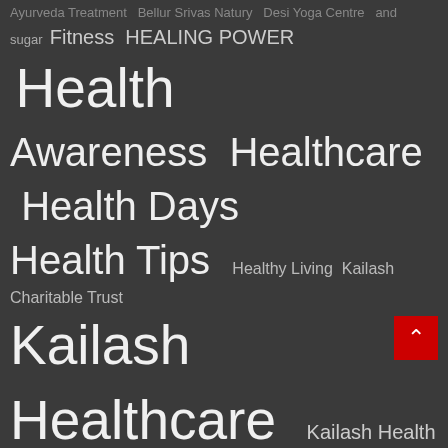[Figure (infographic): A tag cloud / word cloud on a dark grey background listing healthcare-related tags of varying sizes indicating frequency/importance. Tags include: Ayurveda Treatment, Bellur Srivas Natury, Desi Yoga Centre, sugar, Fitness, HEALING POWER, Health, Awareness, Healthcare, Health Days, Health Tips, Healthy Living, Kailash Charitable Trust, Kailash Healthcare, Kailash Health Tips, Kailash Hospital, Kailash Hospital Behror, Kailash Hospital Dehradun, kailash hospital greater noida, Kailash Hospital Health Tips, Kailash Hospital Noida, Kailash Hospital Tips, Kailash Naturopathy, Kailash Naturopathy Centre, Kailash negative reviews, kailash patient reviews, KHNI, Mud Therapy, Natural Healing, Natural Treatment, Naturopathy Centre, Naturopathy Centre in Greater Noida, Naturopathy Treatment, NATUROPATHY TREATMENTS, Negative Reviews, Noida, Patient Reviews, Patient Story, Patient Testimonial, Prevention, Symptoms, Weight Loss, Workout, Yoga Centre, Yoga Classes, Yoga Therapies. A red scroll-to-top button is visible at the lower right.]